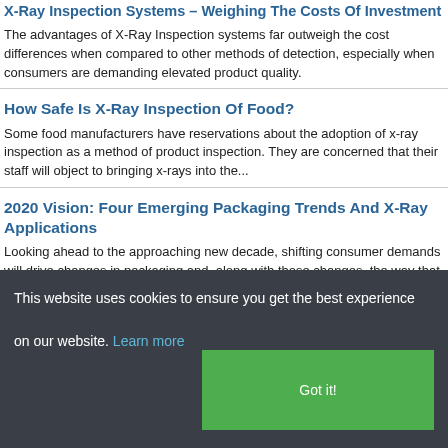X-Ray Inspection Systems – Weighing The Costs Of Investment
The advantages of X-Ray Inspection systems far outweigh the cost differences when compared to other methods of detection, especially when consumers are demanding elevated product quality.
How Safe Is X-Ray Inspection Of Food?
Some food manufacturers have reservations about the adoption of x-ray inspection as a method of product inspection. They are concerned that their staff will object to bringing x-rays into the...
2020 Vision: Four Emerging Packaging Trends And X-Ray Applications
Looking ahead to the approaching new decade, shifting consumer demands will drive changes in packaging and, along with those changes, the way that
This website uses cookies to ensure you get the best experience on our website. Learn more
Got it!